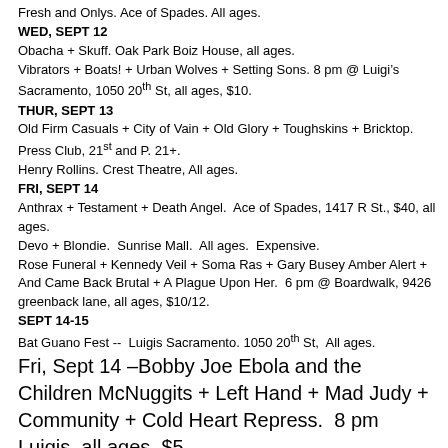Fresh and Onlys. Ace of Spades. All ages.
WED, SEPT 12
Obacha + Skuff. Oak Park Boiz House, all ages.
Vibrators + Boats! + Urban Wolves + Setting Sons. 8 pm @ Luigi’s Sacramento, 1050 20th St, all ages, $10.
THUR, SEPT 13
Old Firm Casuals + City of Vain + Old Glory + Toughskins + Bricktop. Press Club, 21st and P. 21+.
Henry Rollins. Crest Theatre, All ages.
FRI, SEPT 14
Anthrax + Testament + Death Angel.  Ace of Spades, 1417 R St., $40, all ages.
Devo + Blondie.  Sunrise Mall.  All ages.  Expensive.
Rose Funeral + Kennedy Veil + Soma Ras + Gary Busey Amber Alert + And Came Back Brutal + A Plague Upon Her.  6 pm @ Boardwalk, 9426 greenback lane, all ages, $10/12.
SEPT 14-15
Bat Guano Fest --  Luigis Sacramento. 1050 20th St,  All ages.
Fri, Sept 14 –Bobby Joe Ebola and the Children McNuggits + Left Hand + Mad Judy + Community + Cold Heart Repress.  8 pm Luigis, all ages, $5.
Sat, Sept 15 -- Rat Damage + The Walking Dead + Support the Rabid +